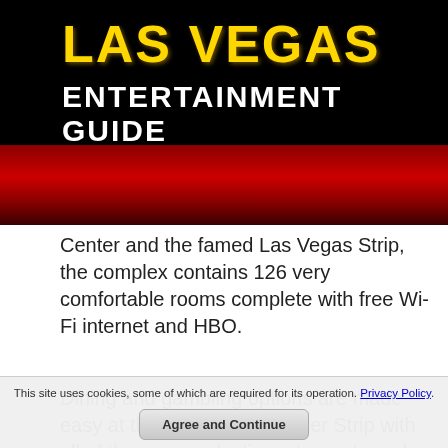LAS VEGAS ENTERTAINMENT GUIDE
Center and the famed Las Vegas Strip, the complex contains 126 very comfortable rooms complete with free Wi-Fi internet and HBO.
Dining and gambling options are made easy at the Travelodge Center Strip with all of the many eclectic restaurants and night clubs located on the Strip. Guests can also take a dip in the swimming pool that is open all
This site uses cookies, some of which are required for its operation. Privacy Policy. Agree and Continue